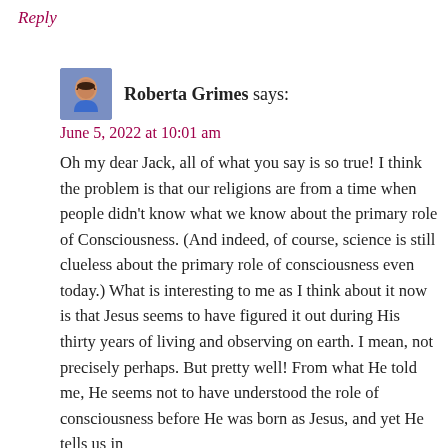Reply
[Figure (photo): Small avatar photo of Roberta Grimes, a woman with dark hair]
Roberta Grimes says:
June 5, 2022 at 10:01 am
Oh my dear Jack, all of what you say is so true! I think the problem is that our religions are from a time when people didn’t know what we know about the primary role of Consciousness. (And indeed, of course, science is still clueless about the primary role of consciousness even today.) What is interesting to me as I think about it now is that Jesus seems to have figured it out during His thirty years of living and observing on earth. I mean, not precisely perhaps. But pretty well! From what He told me, He seems not to have understood the role of consciousness before He was born as Jesus, and yet He tells us in